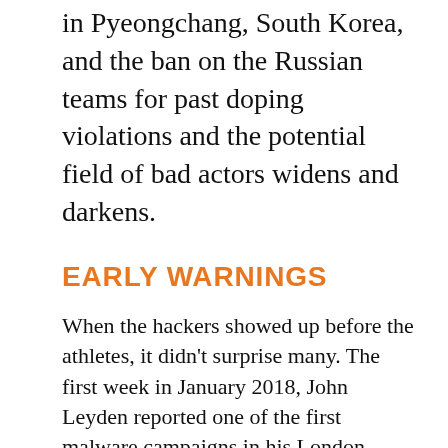in Pyeongchang, South Korea, and the ban on the Russian teams for past doping violations and the potential field of bad actors widens and darkens.
EARLY WARNINGS
When the hackers showed up before the athletes, it didn't surprise many. The first week in January 2018, John Leyden reported one of the first malware campaigns in his London-based newspaper, The Register. The Advanced Threat Research division of the